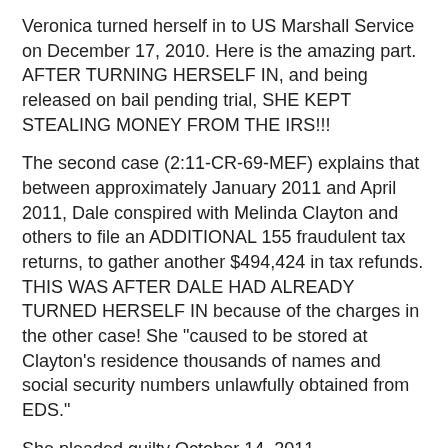Veronica turned herself in to US Marshall Service on December 17, 2010. Here is the amazing part. AFTER TURNING HERSELF IN, and being released on bail pending trial, SHE KEPT STEALING MONEY FROM THE IRS!!!
The second case (2:11-CR-69-MEF) explains that between approximately January 2011 and April 2011, Dale conspired with Melinda Clayton and others to file an ADDITIONAL 155 fraudulent tax returns, to gather another $494,424 in tax refunds. THIS WAS AFTER DALE HAD ALREADY TURNED HERSELF IN because of the charges in the other case! She "caused to be stored at Clayton's residence thousands of names and social security numbers unlawfully obtained from EDS."
She pleaded guilty October 14, 2011.
The guilty plea (see see the Plea Agreement) includes the fact that "on counts 1,9,10,27 and 28, a 6-level enhancement is warranted because the Defendant's direct participation in the offense involved 250 or more victims.
The guilty plea explains that "Between June 2007 and